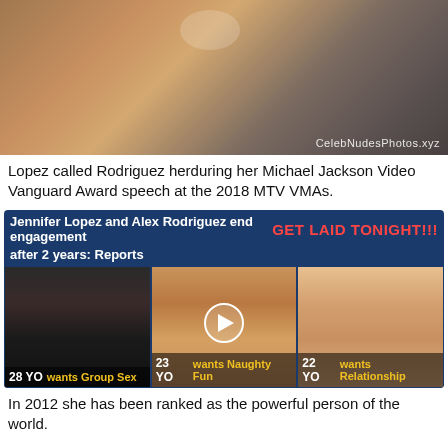[Figure (photo): Cropped photo of a person's torso, partially unclothed, with a watermark reading CelebNudosPhotos.xyz]
Lopez called Rodriguez herduring her Michael Jackson Video Vanguard Award speech at the 2018 MTV VMAs.
[Figure (infographic): Advertisement banner with dark blue background. Header reads 'Jennifer Lopez and Alex Rodriguez end engagement after 2 years: Reports' on left and 'GET LAID TONIGHT!!!' in red on right. Below are three image thumbnails each with age and wants labels: 28 YO wants Group Sex, 23 YO wants Naughty Fun, 22 YO wants Relationship. Middle thumbnail has a play button overlay.]
In 2012 she has been ranked as the powerful person of the world.